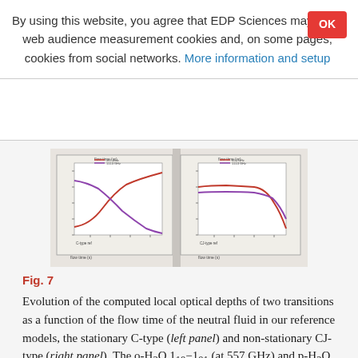By using this website, you agree that EDP Sciences may store web audience measurement cookies and, on some pages, cookies from social networks. More information and setup
[Figure (other): Two side-by-side line plots showing evolution of computed local optical depths of two transitions as a function of flow time, for stationary C-type (left panel) and non-stationary CJ-type (right panel) reference models.]
Fig. 7
Evolution of the computed local optical depths of two transitions as a function of the flow time of the neutral fluid in our reference models, the stationary C-type (left panel) and non-stationary CJ-type (right panel). The o-H2O 1_10−1_01 (at 557 GHz) and p-H2O 1_11−0_00 (at 1113 GHz) lines